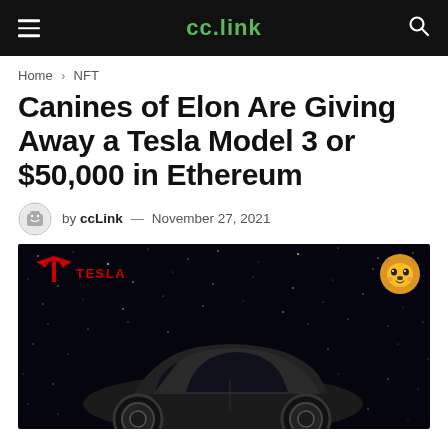cc.link
Home > NFT
Canines of Elon Are Giving Away a Tesla Model 3 or $50,000 in Ethereum
by ccLink — November 27, 2021
[Figure (photo): A dark-colored Tesla Model 3 sedan shown against a starry night sky background, with the red Tesla logo and TESLA wordmark in the upper left, and a cartoon dog/Shiba Inu icon in the upper right corner.]